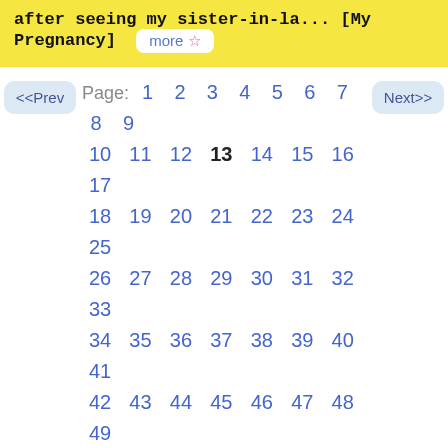after seeing my sister-in-la... [My Pregnancy]  more ☆
Page: 1 2 3 4 5 6 7 8 9 10 11 12 13 14 15 16 17 18 19 20 21 22 23 24 25 26 27 28 29 30 31 32 33 34 35 36 37 38 39 40 41 42 43 44 45 46 47 48 49
How to mark your wish came true:
Go to your wish list page (Or, click Make a Wish above, right)
Edit the wish that came true
Set Has your wish come true? to Yes, and, optionally, add a note!